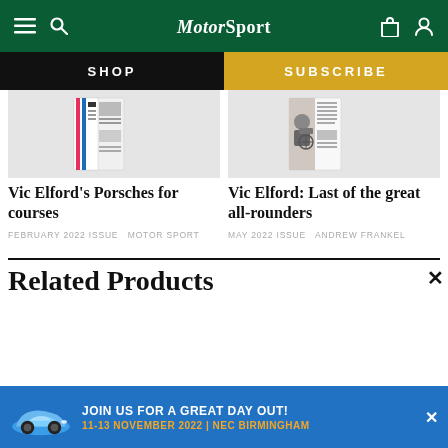Motor Sport
SHOP
SUBSCRIBE
[Figure (photo): Magazine spread showing Vic Elford Porsches article]
Vic Elford's Porsches for courses
FEBRUARY 2022 ISSUE  MOTOR SPORT
[Figure (photo): Black and white photo of person in car cockpit, magazine spread]
Vic Elford: Last of the great all-rounders
MAY 2022 ISSUE  ANDREW FRANKEL
Related Products
JOIN US FOR A GREAT DAY OUT!
11-13 NOVEMBER 2022 | NEC BIRMINGHAM